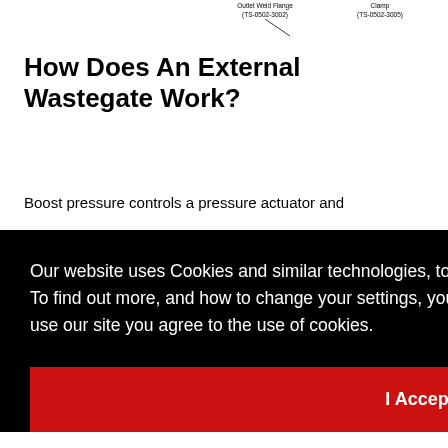[Figure (schematic): Partial engineering diagram showing labeled components including Outlet Weld Flange (TS-0502-3002) and Clamp (TS-0502-3005) with leader lines]
How Does An External Wastegate Work?
Boost pressure controls a pressure actuator and
rce is When actuator ssure es
Our website uses Cookies and similar technologies, to give you the best online experience.
To find out more, and how to change your settings, you can read our Privacy Policy here. By continuing to use our site you agree to the use of cookies.
I Accept
Needed?